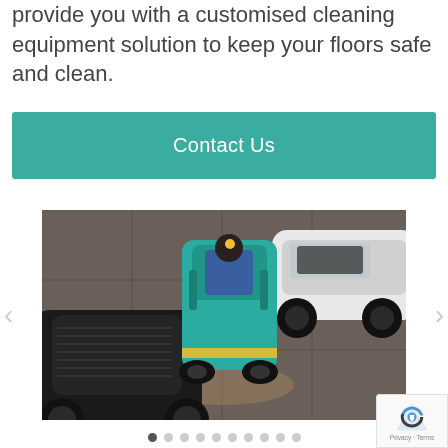provide you with a customised cleaning equipment solution to keep your floors safe and clean.
Contact Us
[Figure (photo): A person operating a large teal/turquoise ride-on floor scrubber machine in a car showroom, flanked by two Porsche vehicles - a black one on the left and a white convertible on the right. The floor is tiled.]
Carousel navigation dots (10 dots, first one active)